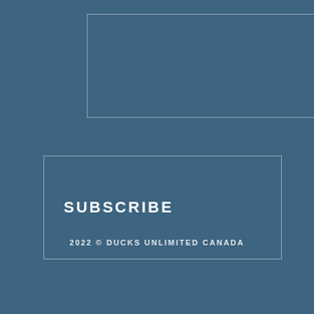[Figure (other): Empty outlined rectangle box at top of page on blue background]
SUBSCRIBE
2022 © DUCKS UNLIMITED CANADA